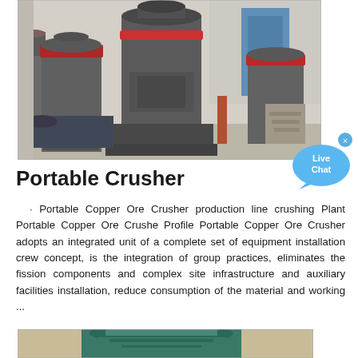[Figure (photo): Industrial portable crusher machines in a factory/warehouse setting, showing large grey cylindrical grinding/crushing equipment with red accent rings, multiple units visible in an indoor facility.]
[Figure (infographic): Live Chat button widget - blue speech bubble with 'Live Chat' text and an X close button in top right corner.]
Portable Crusher
· Portable Copper Ore Crusher production line crushing Plant Portable Copper Ore Crushe Profile Portable Copper Ore Crusher adopts an integrated unit of a complete set of equipment installation crew concept, is the integration of group practices, eliminates the fission components and complex site infrastructure and auxiliary facilities installation, reduce consumption of the material and working ...
[Figure (photo): A teal/green colored industrial crusher or grinding machine, partially visible, appearing to be a cone or gyratory type crusher.]